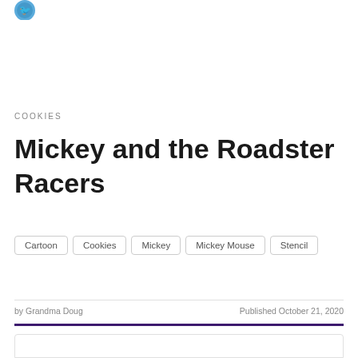COOKIES
Mickey and the Roadster Racers
Cartoon
Cookies
Mickey
Mickey Mouse
Stencil
by Grandma Doug
Published October 21, 2020